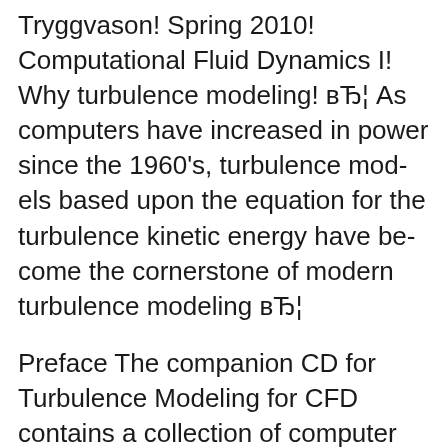Tryggvason! Spring 2010! Computational Fluid Dynamics I! Why turbulence modeling! вЂ¦ As computers have increased in power since the 1960's, turbulence mod- els based upon the equation for the turbulence kinetic energy have be- come the cornerstone of modern turbulence modeling вЂ¦
Preface The companion CD for Turbulence Modeling for CFD contains a collection of computer programs that can be used to develop and validate turbulence models. 142 Document and Pdf Drive Online Wilcox Turbulence Modeling For Cfd Solution Manual File Name: Wilcox Turbulence Modeling For Cfd Solution Manual